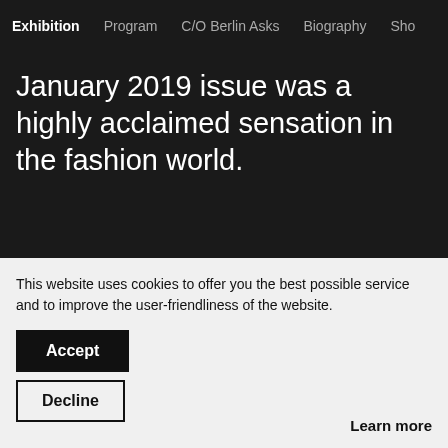Exhibition  Program  C/O Berlin Asks  Biography  Sho...
January 2019 issue was a highly acclaimed sensation in the fashion world.
[Figure (photo): Gallery exhibition space with framed portrait photographs on the wall, two visitors viewed from behind looking at the artworks, purple-pink ambient lighting.]
This website uses cookies to offer you the best possible service and to improve the user-friendliness of the website.
Accept
Decline
Learn more